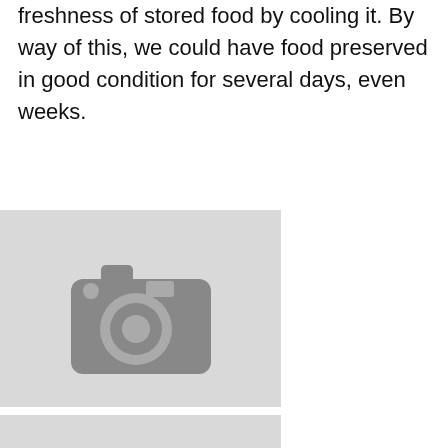freshness of stored food by cooling it. By way of this, we could have food preserved in good condition for several days, even weeks.
[Figure (photo): Placeholder image with camera icon (first)]
[Figure (photo): Placeholder image with camera icon (second, partially visible)]